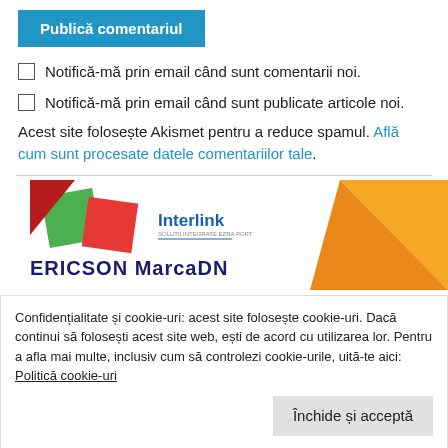[Figure (other): Blue 'Publică comentariul' button]
Notifică-mă prin email când sunt comentarii noi.
Notifică-mă prin email când sunt publicate articole noi.
Acest site folosește Akismet pentru a reduce spamul. Află cum sunt procesate datele comentariilor tale.
[Figure (logo): Interlink / ERICSON MarcaDN banner advertisement with colored geometric shapes]
Confidențialitate și cookie-uri: acest site folosește cookie-uri. Dacă continui să folosești acest site web, ești de acord cu utilizarea lor. Pentru a afla mai multe, inclusiv cum să controlezi cookie-urile, uită-te aici: Politică cookie-uri
[Figure (other): Închide și acceptă button]